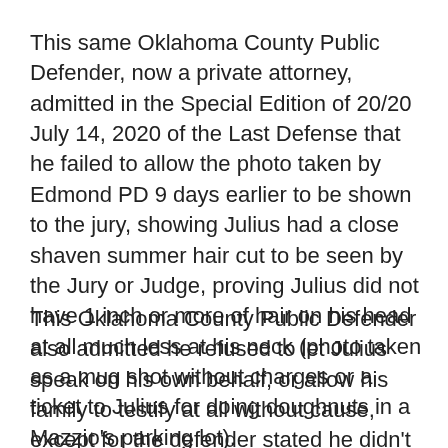This same Oklahoma County Public Defender, now a private attorney, admitted in the Special Edition of 20/20 July 14, 2020 of the Last Defense that he failed to allow the photo taken by Edmond PD 9 days earlier to be shown to the jury, showing Julius had a close shaven summer hair cut to be seen by the Jury or Judge, proving Julius did not have 1 inch or more of hair on his head at all much less at his neck (photo taken as a mug shot without charges or a ticket to Julius for doing doughnuts in a Mazzio's parking lot).
This Oklahoma County Public Defender also admitted he refused to let Julius speak on his own behalf, or allow his family to testify at all without cause, except for the defender stated he didn't believe the family and did not know why he failed